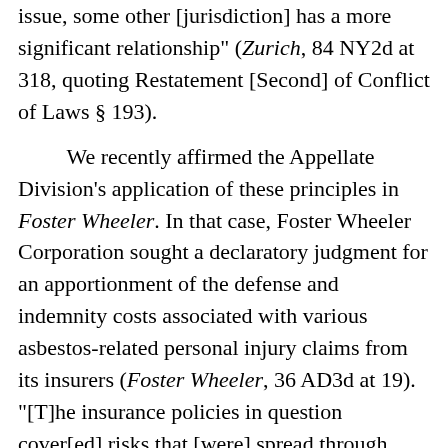issue, some other [jurisdiction] has a more significant relationship" (Zurich, 84 NY2d at 318, quoting Restatement [Second] of Conflict of Laws § 193).
We recently affirmed the Appellate Division's application of these principles in Foster Wheeler. In that case, Foster Wheeler Corporation sought a declaratory judgment for an apportionment of the defense and indemnity costs associated with various asbestos-related personal injury claims from its insurers (Foster Wheeler, 36 AD3d at 19). "[T]he insurance policies in question cover[ed] risks that [were] spread through multiple states" (id. at 22) and the parties disputed whether New York or New Jersey law should apply when interpreting those policies (see id. at 21).
In applying New York's "grouping of contacts"